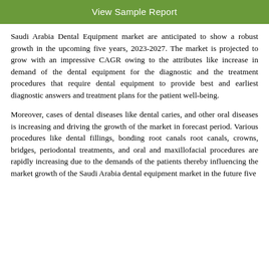View Sample Report
Saudi Arabia Dental Equipment market are anticipated to show a robust growth in the upcoming five years, 2023-2027. The market is projected to grow with an impressive CAGR owing to the attributes like increase in demand of the dental equipment for the diagnostic and the treatment procedures that require dental equipment to provide best and earliest diagnostic answers and treatment plans for the patient well-being.
Moreover, cases of dental diseases like dental caries, and other oral diseases is increasing and driving the growth of the market in forecast period. Various procedures like dental fillings, bonding root canals root canals, crowns, bridges, periodontal treatments, and oral and maxillofacial procedures are rapidly increasing due to the demands of the patients thereby influencing the market growth of the Saudi Arabia dental equipment market in the future five